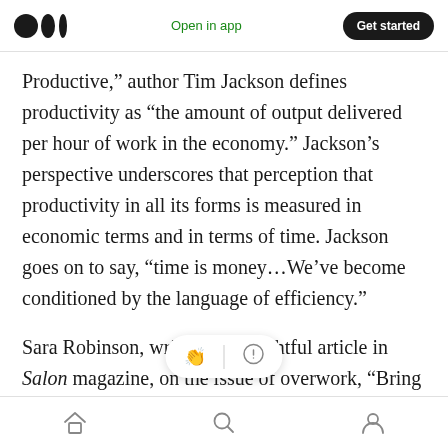Open in app | Get started
Productive,” author Tim Jackson defines productivity as “the amount of output delivered per hour of work in the economy.” Jackson’s perspective underscores that perception that productivity in all its forms is measured in economic terms and in terms of time. Jackson goes on to say, “time is money…We’ve become conditioned by the language of efficiency.”
Sara Robinson, writing an insightful article in Salon magazine, on the issue of overwork, “Bring Back the 40-hour… says “150 years of
Home | Search | Profile